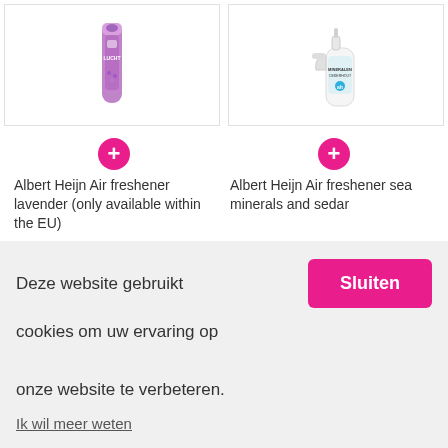[Figure (photo): Albert Heijn lavender air freshener spray can (purple)]
[Figure (photo): Albert Heijn sea minerals and sedar air freshener spray bottle (white)]
Albert Heijn Air freshener lavender (only available within the EU)
Albert Heijn Air freshener sea minerals and sedar
Deze website gebruikt cookies om uw ervaring op onze website te verbeteren.
Sluiten
Ik wil meer weten